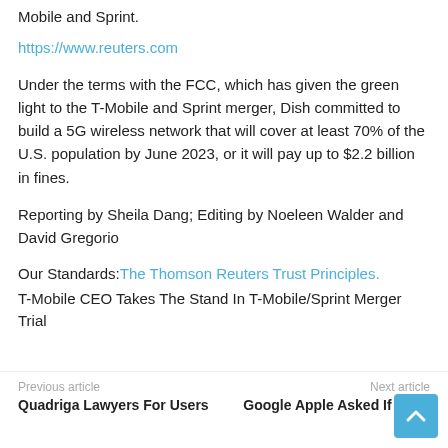Mobile and Sprint.
https://www.reuters.com
Under the terms with the FCC, which has given the green light to the T-Mobile and Sprint merger, Dish committed to build a 5G wireless network that will cover at least 70% of the U.S. population by June 2023, or it will pay up to $2.2 billion in fines.
Reporting by Sheila Dang; Editing by Noeleen Walder and David Gregorio
Our Standards: The Thomson Reuters Trust Principles.
T-Mobile CEO Takes The Stand In T-Mobile/Sprint Merger Trial
Previous article | Quadriga Lawyers For Users | Next article | Google Apple Asked If Apps
[Figure (other): Scroll-to-top button (blue square with up arrow)]